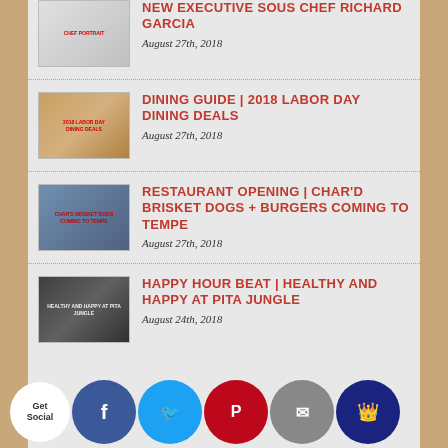NEW EXECUTIVE SOUS CHEF RICHARD GARCIA
August 27th, 2018
DINING GUIDE | 2018 LABOR DAY DINING DEALS
August 27th, 2018
RESTAURANT OPENING | CHAR'D BRISKET DOGS + BURGERS COMING TO TEMPE
August 27th, 2018
HAPPY HOUR BEAT | HEALTHY AND HAPPY AT PITA JUNGLE
August 24th, 2018